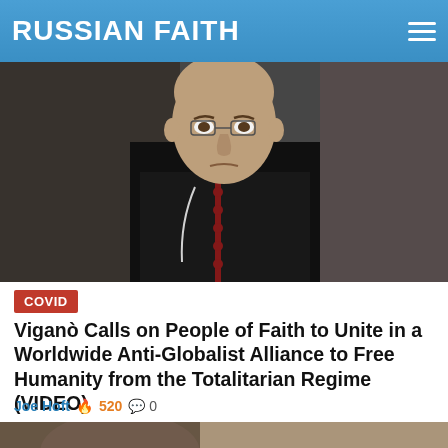RUSSIAN FAITH
[Figure (photo): Portrait of Archbishop Viganò in black clerical robes with red buttons and white collar insert, looking sternly at the camera against a dark background.]
COVID
Viganò Calls on People of Faith to Unite in a Worldwide Anti-Globalist Alliance to Free Humanity from the Totalitarian Regime (VIDEO)
Joe Hoft 🔥 520 💬 0
[Figure (photo): Partial image of a second article's featured photo, cropped at bottom of page.]